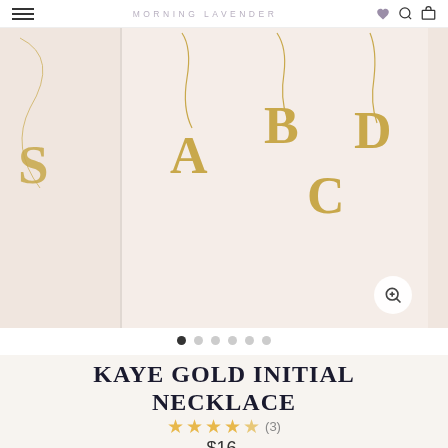MORNING LAVENDER
[Figure (photo): Product photo carousel showing gold initial necklaces with letters A, B, C, D on a light pink/beige background. Center image shows multiple necklaces. Left and right edges show partial images.]
KAYE GOLD INITIAL NECKLACE
★★★★☆ (3)
$16.00